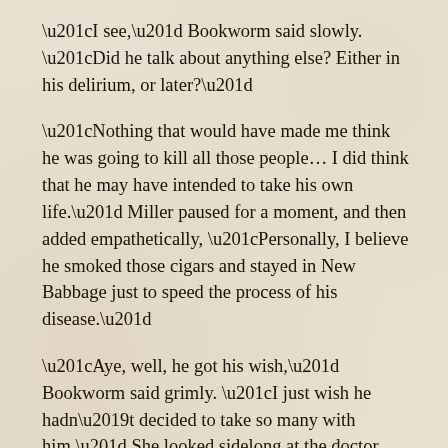“I see,” Bookworm said slowly. “Did he talk about anything else? Either in his delirium, or later?”
“Nothing that would have made me think he was going to kill all those people… I did think that he may have intended to take his own life.” Miller paused for a moment, and then added empathetically, “Personally, I believe he smoked those cigars and stayed in New Babbage just to speed the process of his disease.”
“Aye, well, he got his wish,” Bookworm said grimly. “I just wish he hadn’t decided to take so many with him.” She looked sidelong at the doctor, trying to assess him. Nervous and excitable he was, but he certainly seemed sincere. She decided to be fully honest with him. “Doctor, certain things I’ve been told lead me to believe Cortman may have witnessed one or more of the earlier killings–the bodies found outside the city